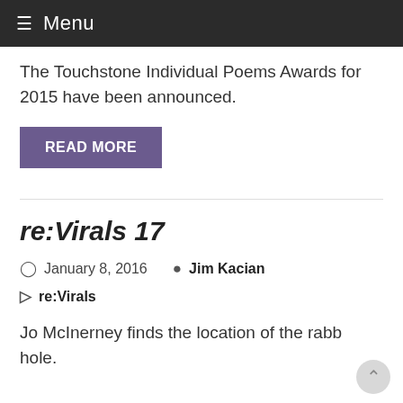Menu
The Touchstone Individual Poems Awards for 2015 have been announced.
READ MORE
re:Virals 17
January 8, 2016   Jim Kacian
re:Virals
Jo McInerney finds the location of the rabbit hole.